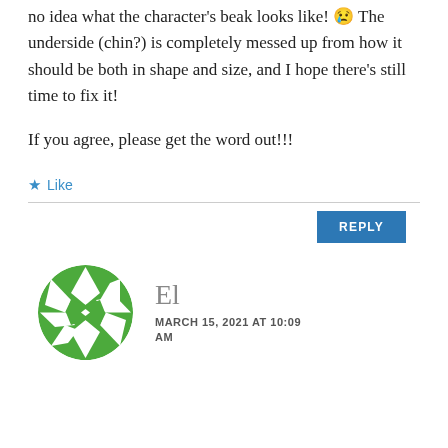no idea what the character's beak looks like! 😢 The underside (chin?) is completely messed up from how it should be both in shape and size, and I hope there's still time to fix it!
If you agree, please get the word out!!!
★ Like
REPLY
[Figure (logo): Green geometric circular logo with star/diamond pattern]
El
MARCH 15, 2021 AT 10:09 AM